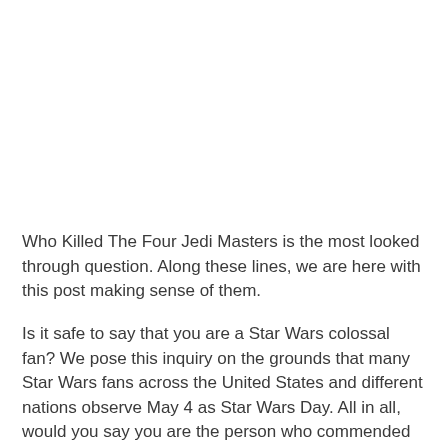Who Killed The Four Jedi Masters is the most looked through question. Along these lines, we are here with this post making sense of them.
Is it safe to say that you are a Star Wars colossal fan? We pose this inquiry on the grounds that many Star Wars fans across the United States and different nations observe May 4 as Star Wars Day. All in all, would you say you are the person who commended this occasion?